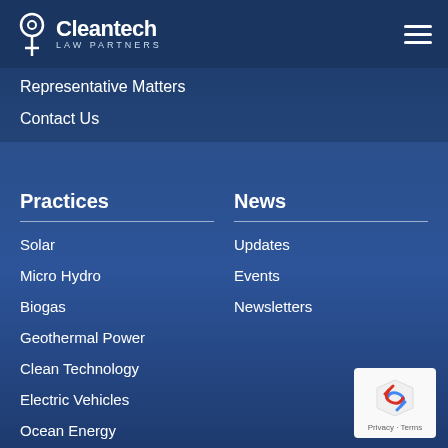Cleantech Law Partners
Representative Matters
Contact Us
Practices
News
Solar
Updates
Micro Hydro
Events
Biogas
Newsletters
Geothermal Power
Clean Technology
Electric Vehicles
Ocean Energy
Energy Storage
[Figure (logo): reCAPTCHA privacy badge]